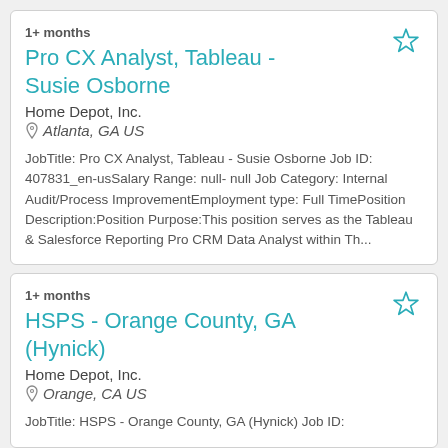1+ months
Pro CX Analyst, Tableau - Susie Osborne
Home Depot, Inc.
Atlanta, GA US
JobTitle: Pro CX Analyst, Tableau - Susie Osborne Job ID: 407831_en-usSalary Range: null- null Job Category: Internal Audit/Process ImprovementEmployment type: Full TimePosition Description:Position Purpose:This position serves as the Tableau & Salesforce Reporting Pro CRM Data Analyst within Th...
1+ months
HSPS - Orange County, GA (Hynick)
Home Depot, Inc.
Orange, CA US
JobTitle: HSPS - Orange County, GA (Hynick) Job ID: